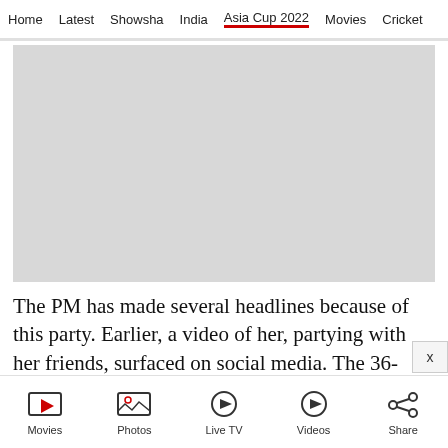Home | Latest | Showsha | India | Asia Cup 2022 | Movies | Cricket
[Figure (photo): Large grey placeholder image area for a photo or video thumbnail]
The PM has made several headlines because of this party. Earlier, a video of her, partying with her friends, surfaced on social media. The 36-
Movies | Photos | Live TV | Videos | Share